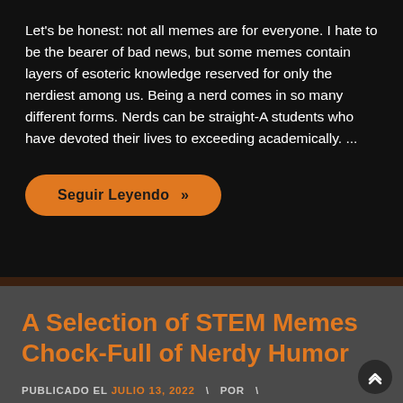Let's be honest: not all memes are for everyone. I hate to be the bearer of bad news, but some memes contain layers of esoteric knowledge reserved for only the nerdiest among us. Being a nerd comes in so many different forms. Nerds can be straight-A students who have devoted their lives to exceeding academically. ...
Seguir Leyendo »
A Selection of STEM Memes Chock-Full of Nerdy Humor
PUBLICADO EL JULIO 13, 2022  \  POR  \